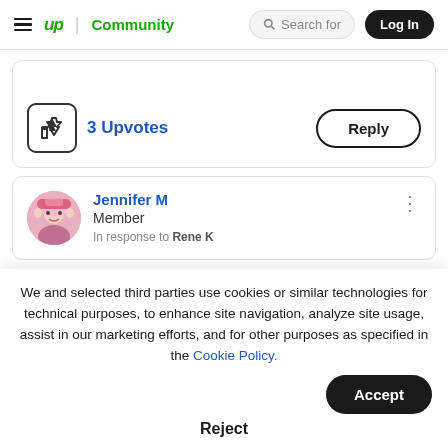up Community | Search for | Log In
[Figure (illustration): Thumbs up upvote button icon with '3 Upvotes' text and a Reply button]
Jennifer M
Member
In response to Rene K
We and selected third parties use cookies or similar technologies for technical purposes, to enhance site navigation, analyze site usage, assist in our marketing efforts, and for other purposes as specified in the Cookie Policy.
Accept
Reject